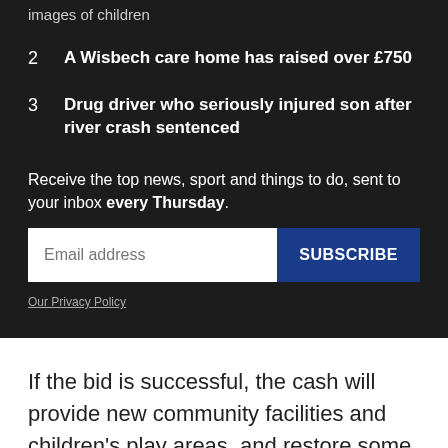images of children
2  A Wisbech care home has raised over £750
3  Drug driver who seriously injured son after river crash sentenced
Receive the top news, sport and things to do, sent to your inbox every Thursday.
Our Privacy Policy
If the bid is successful, the cash will provide new community facilities and children's play areas, and restore some of the park's historic features.